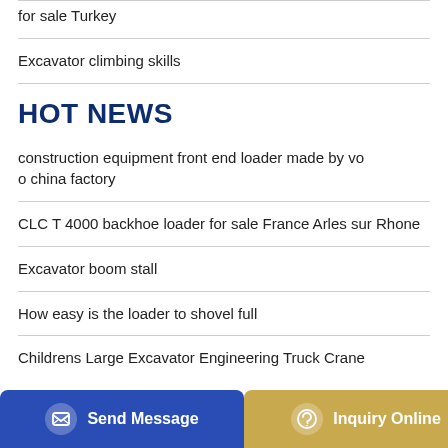for sale Turkey
Excavator climbing skills
HOT NEWS
construction equipment front end loader made by voo china factory
CLC T 4000 backhoe loader for sale France Arles sur Rhone
Excavator boom stall
How easy is the loader to shovel full
Childrens Large Excavator Engineering Truck Crane
Send Message | Inquiry Online